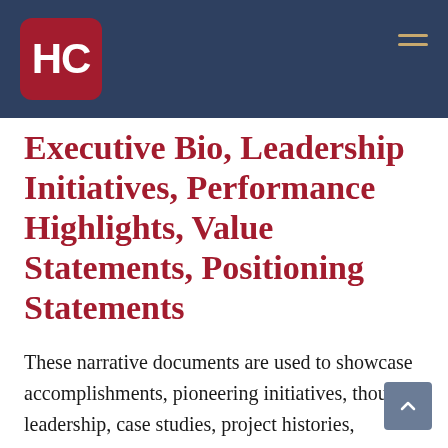[Figure (logo): HC logo — white letters HC on dark red rounded square background, set in a dark navy header bar with a hamburger menu icon on the right]
Executive Bio, Leadership Initiatives, Performance Highlights, Value Statements, Positioning Statements
These narrative documents are used to showcase accomplishments, pioneering initiatives, thought leadership, case studies, project histories, multicultural background & languages, international experience, public speaking engagements, extensive professional